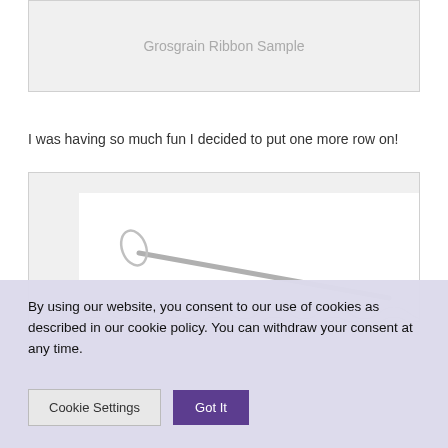[Figure (other): Gray placeholder box with centered text label 'Grosgrain Ribbon Sample']
I was having so much fun I decided to put one more row on!
[Figure (photo): Photo of a crochet hook and white crochet work on a white background]
By using our website, you consent to our use of cookies as described in our cookie policy. You can withdraw your consent at any time.